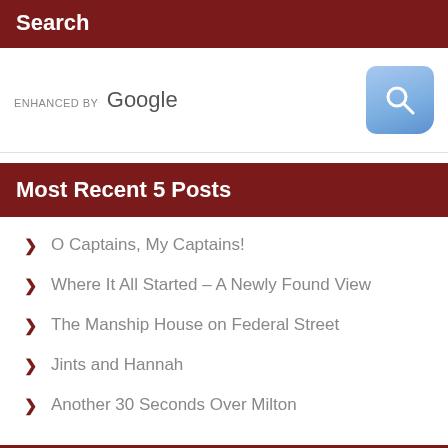Search
[Figure (screenshot): Google enhanced search bar with blue search button icon on the right]
Most Recent 5 Posts
O Captains, My Captains!
Where It All Started – A Newly Found View
The Manship House on Federal Street
Jints and Hannah
Another 30 Seconds Over Milton
Subscribe to Blog via Email